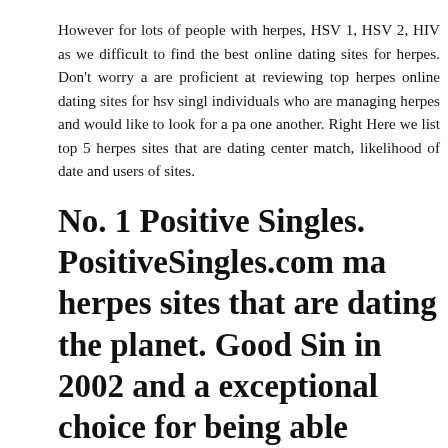However for lots of people with herpes, HSV 1, HSV 2, HIV as we difficult to find the best online dating sites for herpes. Don't worry a are proficient at reviewing top herpes online dating sites for hsv singl individuals who are managing herpes and would like to look for a pa one another. Right Here we list top 5 herpes sites that are dating center match, likelihood of date and users of sites.
No. 1 Positive Singles. PositiveSingles.com ma herpes sites that are dating the planet. Good Sin in 2002 and a exceptional choice for being able privacy and transparency.
For the present time up up on, PS (PositiveSingles) has 1.52 million i 1, HSV 2, HIV, AIDs as well as other STDs joined up with the we singles for love or acquiring buddies.
A signed-up user has the choice to full cover up certain regions of